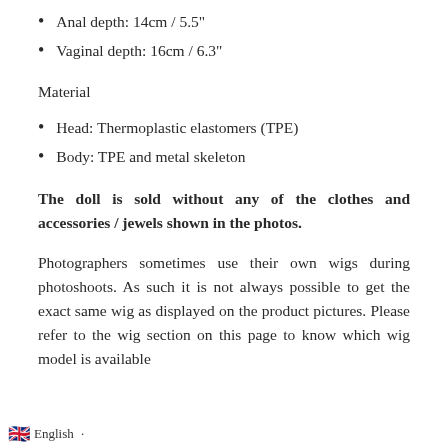Anal depth: 14cm / 5.5"
Vaginal depth: 16cm / 6.3"
Material
Head: Thermoplastic elastomers (TPE)
Body: TPE and metal skeleton
The doll is sold without any of the clothes and accessories / jewels shown in the photos.
Photographers sometimes use their own wigs during photoshoots. As such it is not always possible to get the exact same wig as displayed on the product pictures. Please refer to the wig section on this page to know which wig model is available
English